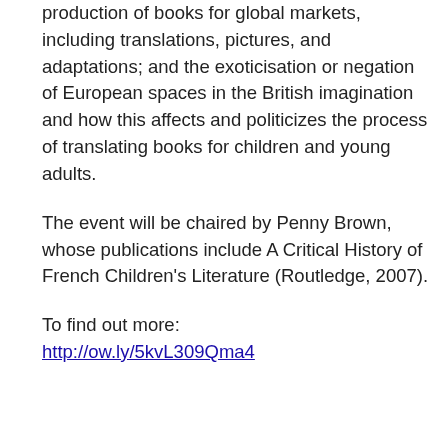production of books for global markets, including translations, pictures, and adaptations; and the exoticisation or negation of European spaces in the British imagination and how this affects and politicizes the process of translating books for children and young adults.
The event will be chaired by Penny Brown, whose publications include A Critical History of French Children's Literature (Routledge, 2007).
To find out more: http://ow.ly/5kvL309Qma4